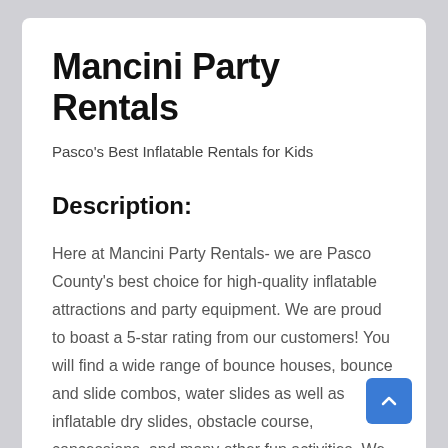Mancini Party Rentals
Pasco's Best Inflatable Rentals for Kids
Description:
Here at Mancini Party Rentals- we are Pasco County's best choice for high-quality inflatable attractions and party equipment. We are proud to boast a 5-star rating from our customers! You will find a wide range of bounce houses, bounce and slide combos, water slides as well as inflatable dry slides, obstacle course, concessions, and many other fun activities. We want you to be completely satisfied with your party rental experience. You can count on your order arriving on time, exactly as it was ordered, and all equipment clean